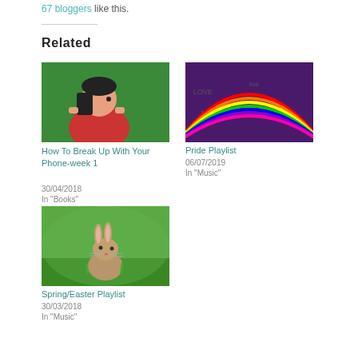67 bloggers like this.
Related
[Figure (photo): Illustration of a person looking at their phone with a green background]
How To Break Up With Your Phone-week 1
30/04/2018
In "Books"
[Figure (photo): Photo of a rainbow with love text graffiti on purple background]
Pride Playlist
06/07/2019
In "Music"
[Figure (photo): Photo of a brown rabbit sitting on green grass]
Spring/Easter Playlist
30/03/2018
In "Music"